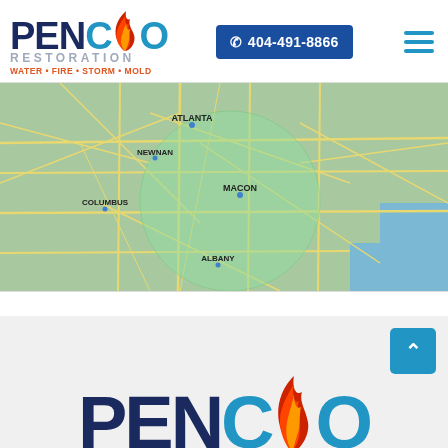[Figure (logo): Penco Restoration logo with flame graphic. PENCO in large bold navy/blue letters with flame, RESTORATION in gray, tagline WATER • FIRE • STORM • MOLD in orange/red]
404-491-8866
[Figure (map): Google Maps view of Georgia showing a service area circle overlay in semi-transparent green centered around Macon, covering Atlanta, Newnan, Columbus, Albany, and surrounding areas]
[Figure (logo): Partial Penco Restoration logo at bottom of page, cropped, showing PENCO text in large navy/blue letters with flame graphic above CO letters]